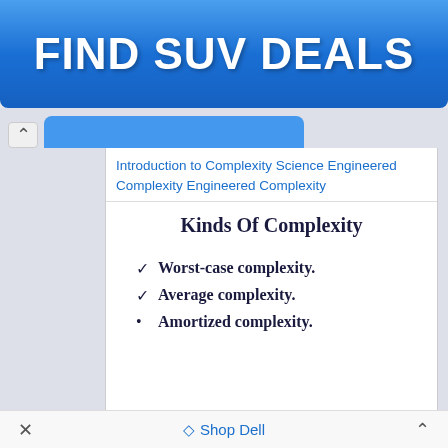[Figure (other): Blue gradient advertisement banner button with bold white text reading FIND SUV DEALS]
Introduction to Complexity Science Engineered Complexity Engineered Complexity
Kinds Of Complexity
Worst-case complexity.
Average complexity.
Amortized complexity.
× Shop Dell ∧